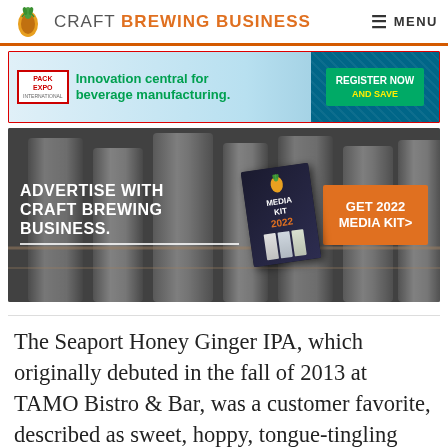CRAFT BREWING BUSINESS  MENU
[Figure (infographic): Pack Expo International advertisement banner: Innovation central for beverage manufacturing. Register Now and Save.]
[Figure (infographic): Craft Brewing Business advertisement: Advertise with Craft Brewing Business. Media Kit 2022. Get 2022 Media Kit>]
The Seaport Honey Ginger IPA, which originally debuted in the fall of 2013 at TAMO Bistro & Bar, was a customer favorite, described as sweet, hoppy, tongue-tingling and